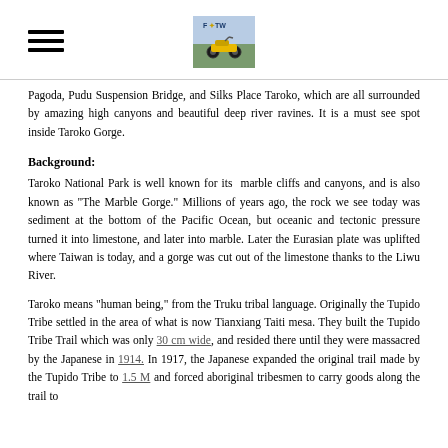[Hamburger menu icon] [FOTW logo]
Pagoda, Pudu Suspension Bridge, and Silks Place Taroko, which are all surrounded by amazing high canyons and beautiful deep river ravines. It is a must see spot inside Taroko Gorge.
Background:
Taroko National Park is well known for its marble cliffs and canyons, and is also known as "The Marble Gorge." Millions of years ago, the rock we see today was sediment at the bottom of the Pacific Ocean, but oceanic and tectonic pressure turned it into limestone, and later into marble. Later the Eurasian plate was uplifted where Taiwan is today, and a gorge was cut out of the limestone thanks to the Liwu River.
Taroko means "human being," from the Truku tribal language. Originally the Tupido Tribe settled in the area of what is now Tianxiang Taiti mesa. They built the Tupido Tribe Trail which was only 30 cm wide, and resided there until they were massacred by the Japanese in 1914. In 1917, the Japanese expanded the original trail made by the Tupido Tribe to 1.5 M and forced aboriginal tribesmen to carry goods along the trail to